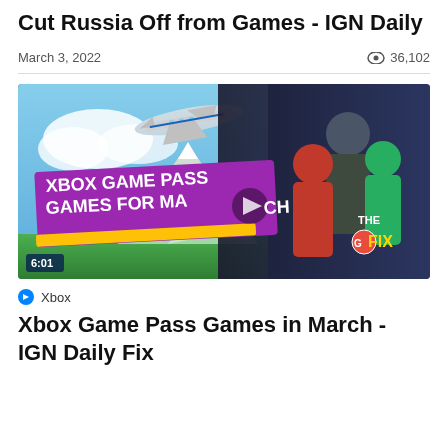Cut Russia Off from Games - IGN Daily
March 3, 2022   36,102
[Figure (screenshot): Video thumbnail for Xbox Game Pass Games for March - IGN The Fix. Shows an airplane in blue sky on left, armored game characters on right, with a purple banner reading 'XBOX GAME PASS GAMES FOR MARCH' and 'THE G FIX' logo. Duration badge shows 6:01 with a play button overlay.]
Xbox
Xbox Game Pass Games in March - IGN Daily Fix